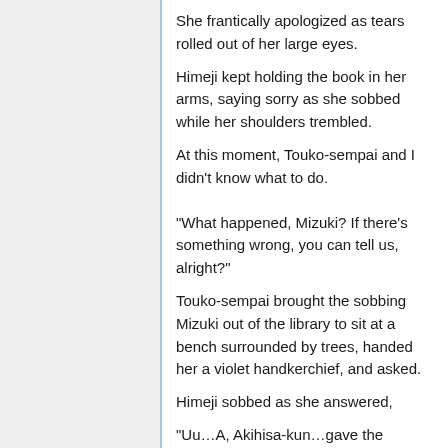She frantically apologized as tears rolled out of her large eyes.
Himeji kept holding the book in her arms, saying sorry as she sobbed while her shoulders trembled.
At this moment, Touko-sempai and I didn't know what to do.
“What happened, Mizuki? If there’s something wrong, you can tell us, alright?”
Touko-sempai brought the sobbing Mizuki out of the library to sit at a bench surrounded by trees, handed her a violet handkerchief, and asked.
Himeji sobbed as she answered,
“Uu…A, Akihisa-kun…gave the cookies I made, uu… to Sakamoto-kun…”